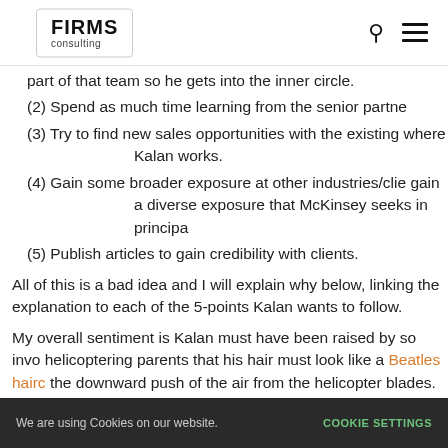FIRMS consulting
part of that team so he gets into the inner circle.
(2) Spend as much time learning from the senior partne
(3) Try to find new sales opportunities with the existing where Kalan works.
(4) Gain some broader exposure at other industries/clie gain a diverse exposure that McKinsey seeks in principa
(5) Publish articles to gain credibility with clients.
All of this is a bad idea and I will explain why below, linking the explanation to each of the 5-points Kalan wants to follow.
My overall sentiment is Kalan must have been raised by so invo helicoptering parents that his hair must look like a Beatles hairc the downward push of the air from the helicopter blades. This li about what he wants when he should be treating the senior part
We are using Cookies on our website. COOKIE SETTINGS